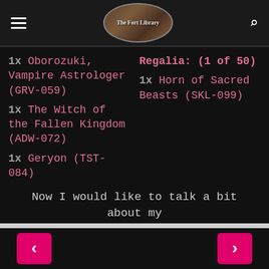The Fort Library [logo/nav header]
1x Oborozuki, Vampire Astrologer (GRV-059)
Regalia: (1 of 50)
1x Horn of Sacred Beasts (SKL-099)
1x The Witch of the Fallen Kingdom (ADW-072)
1x Geryon (TST-084)
1x Magna's Guardian Beast (SDAO2-025)
Now I would like to talk a bit about my
< navigation buttons >